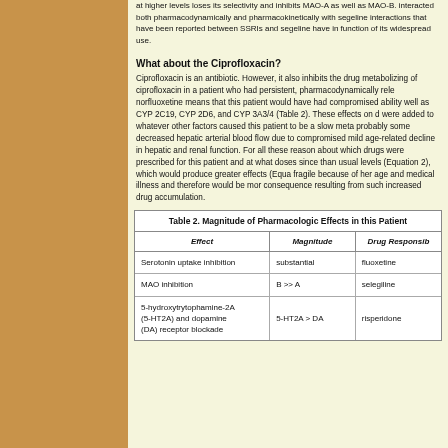at higher levels loses its selectivity and inhibits MAO-A as well as MAO-B. interacted both pharmacodynamically and pharmacokinetically with segeline interactions that have been reported between SSRIs and segeline have in function of its widespread use.
What about the Ciprofloxacin?
Ciprofloxacin is an antibiotic. However, it also inhibits the drug metabolizing of ciprofloxacin in a patient who had persistent, pharmacodynamically rele norfluoxetine means that this patient would have had compromised ability well as CYP 2C19, CYP 2D6, and CYP 3A3/4 (Table 2). These effects on d were added to whatever other factors caused this patient to be a slow meta probably some decreased hepatic arterial blood flow due to compromised mild age-related decline in hepatic and renal function. For all these reason about which drugs were prescribed for this patient and at what doses since than usual levels (Equation 2), which would produce greater effects (Equa fragile because of her age and medical illness and therefore would be mor consequence resulting from such increased drug accumulation.
| Effect | Magnitude | Drug Responsible |
| --- | --- | --- |
| Serotonin uptake inhibition | substantial | fluoxetine |
| MAO inhibition | B >> A | selegiline |
| 5-hydroxytrytophamine-2A (5-HT2A) and dopamine (DA) receptor blockade | 5-HT2A > DA | risperidone |